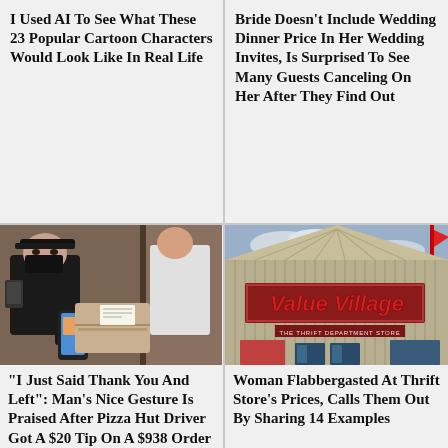I Used AI To See What These 23 Popular Cartoon Characters Would Look Like In Real Life
Bride Doesn't Include Wedding Dinner Price In Her Wedding Invites, Is Surprised To See Many Guests Canceling On Her After They Find Out
[Figure (photo): Person in black cap and mask holding a phone at a doorstep delivery]
"I Just Said Thank You And Left": Man's Nice Gesture Is Praised After Pizza Hut Driver Got A $20 Tip On A $938 Order
[Figure (photo): Exterior of a Value Village thrift department store with red signage]
Woman Flabbergasted At Thrift Store's Prices, Calls Them Out By Sharing 14 Examples